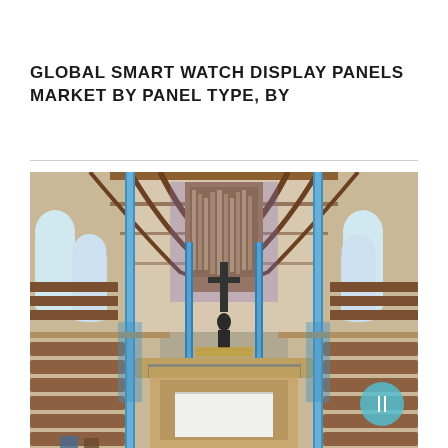GLOBAL SMART WATCH DISPLAY PANELS MARKET BY PANEL TYPE, BY
[Figure (photo): Interior photograph of a large Gothic-style church with high wooden vaulted ceiling, large pipe organ at the back, blue LED accent lighting on pillars, pews on both sides, and a central altar area with a white projection screen.]